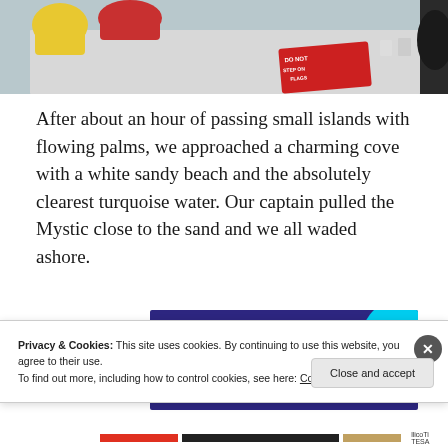[Figure (photo): Partial photo showing colorful items on a light surface, including a yellow bag and a red 'DO NOT STEP ON' sign mat.]
After about an hour of passing small islands with flowing palms, we approached a charming cove with a white sandy beach and the absolutely clearest turquoise water. Our captain pulled the Mystic close to the sand and we all waded ashore.
[Figure (infographic): Advertisement banner with dark purple background and cyan circle graphic reading 'Turn your hobby into a business in 8 steps']
Privacy & Cookies: This site uses cookies. By continuing to use this website, you agree to their use.
To find out more, including how to control cookies, see here: Cookie Policy
Close and accept